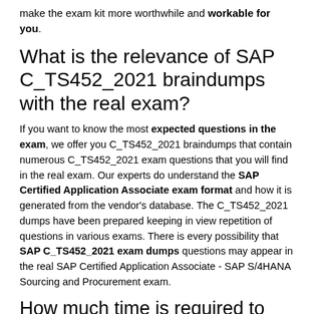make the exam kit more worthwhile and workable for you.
What is the relevance of SAP C_TS452_2021 braindumps with the real exam?
If you want to know the most expected questions in the exam, we offer you C_TS452_2021 braindumps that contain numerous C_TS452_2021 exam questions that you will find in the real exam. Our experts do understand the SAP Certified Application Associate exam format and how it is generated from the vendor's database. The C_TS452_2021 dumps have been prepared keeping in view repetition of questions in various exams. There is every possibility that SAP C_TS452_2021 exam dumps questions may appear in the real SAP Certified Application Associate - SAP S/4HANA Sourcing and Procurement exam.
How much time is required to prepare the SAP Certified Application Associate C_TS452_2021 exam dumps?
The most amazing feature of SAP C_TS452_2021 exam dumps